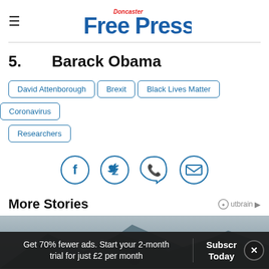Doncaster Free Press
5. Barack Obama
David Attenborough
Brexit
Black Lives Matter
Coronavirus
Researchers
[Figure (infographic): Social share icons: Facebook, Twitter, WhatsApp, Email]
More Stories
[Figure (photo): Person wearing hat in mountainous landscape, partially obscured]
Get 70% fewer ads. Start your 2-month trial for just £2 per month
Subscribe Today